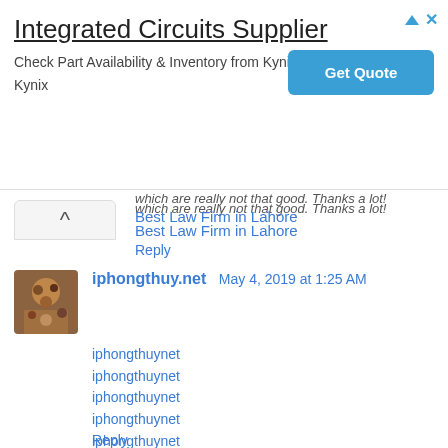[Figure (infographic): Advertisement banner for Integrated Circuits Supplier - Kynix, with a Get Quote button]
which are really not that good. Thanks a lot!
Best Law Firm in Lahore
Reply
iphongthuy.net  May 4, 2019 at 1:25 AM
iphongthuynet
iphongthuynet
iphongthuynet
iphongthuynet
iphongthuynet
iphongthuynet
iphongthuynet
iphongthuynet
iphongthuynet
Reply